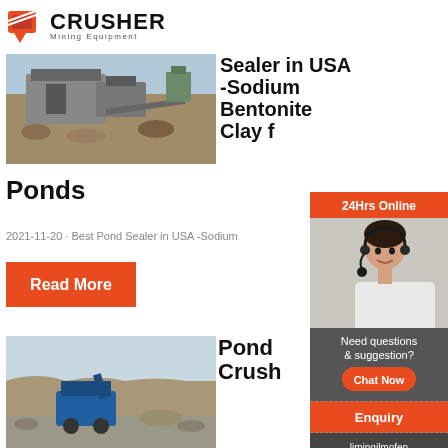CRUSHER Mining Equipment
[Figure (photo): Aerial view of mining equipment and crusher machinery at an open pit mine site]
Sealer in USA -Sodium Bentonite Clay for Ponds
2021-11-20 · Best Pond Sealer in USA -Sodium Bentonite Clay for Ponds
Read More
[Figure (photo): Mining equipment and heavy machinery at an open pit quarry site]
Pond Crusher
[Figure (photo): Customer service representative with headset - 24Hrs Online support sidebar widget]
Need questions & suggestion?
Chat Now
Enquiry
limingjlmofen@sina.com